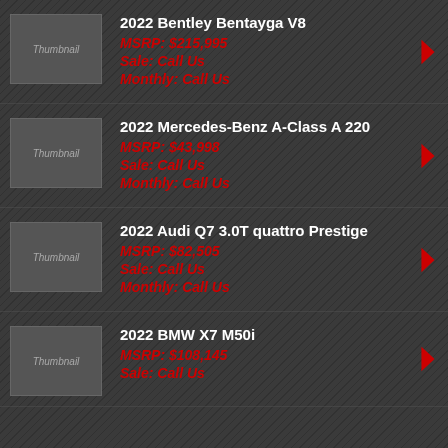2022 Bentley Bentayga V8 | MSRP: $215,995 | Sale: Call Us | Monthly: Call Us
2022 Mercedes-Benz A-Class A 220 | MSRP: $43,998 | Sale: Call Us | Monthly: Call Us
2022 Audi Q7 3.0T quattro Prestige | MSRP: $82,505 | Sale: Call Us | Monthly: Call Us
2022 BMW X7 M50i | MSRP: $108,145 | Sale: Call Us